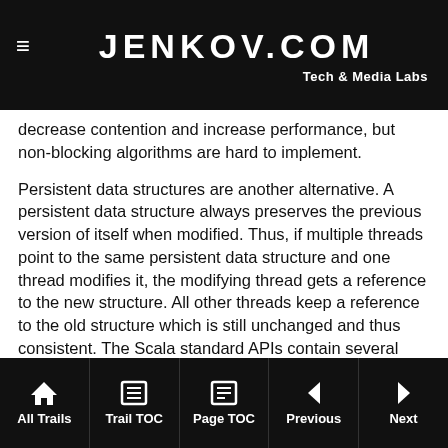JENKOV.COM Tech & Media Labs
decrease contention and increase performance, but non-blocking algorithms are hard to implement.
Persistent data structures are another alternative. A persistent data structure always preserves the previous version of itself when modified. Thus, if multiple threads point to the same persistent data structure and one thread modifies it, the modifying thread gets a reference to the new structure. All other threads keep a reference to the old structure which is still unchanged and thus consistent. The Scala standard APIs contain several persistent data structures.
While persistent data structures are an elegant solution to concurrent modification of shared data structures, persistent data structures tend not to perform that well.
All Trails | Trail TOC | Page TOC | Previous | Next